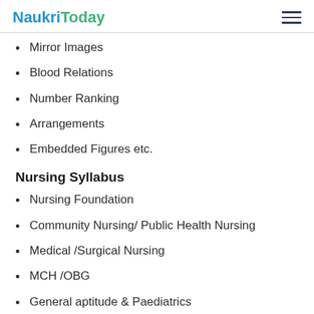NaukriToday
Mirror Images
Blood Relations
Number Ranking
Arrangements
Embedded Figures etc.
Nursing Syllabus
Nursing Foundation
Community Nursing/ Public Health Nursing
Medical /Surgical Nursing
MCH /OBG
General aptitude & Paediatrics